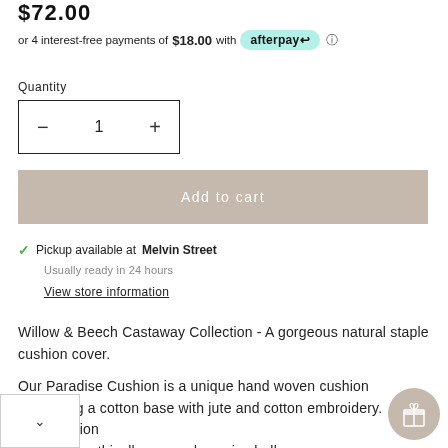$72.00
or 4 interest-free payments of $18.00 with afterpay
Quantity
— 1 +
Add to cart
✓ Pickup available at Melvin Street
Usually ready in 24 hours
View store information
Willow & Beech Castaway Collection - A gorgeous natural staple cushion cover.
Our Paradise Cushion is a unique hand woven cushion combining a cotton base with jute and cotton embroidery. This cushion is lished with ethically sourced cowrie shells.